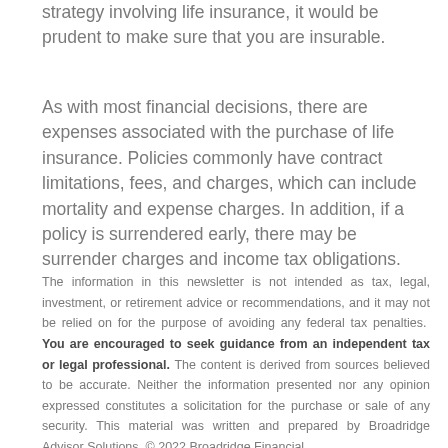strategy involving life insurance, it would be prudent to make sure that you are insurable.
As with most financial decisions, there are expenses associated with the purchase of life insurance. Policies commonly have contract limitations, fees, and charges, which can include mortality and expense charges. In addition, if a policy is surrendered early, there may be surrender charges and income tax obligations.
The information in this newsletter is not intended as tax, legal, investment, or retirement advice or recommendations, and it may not be relied on for the purpose of avoiding any federal tax penalties. You are encouraged to seek guidance from an independent tax or legal professional. The content is derived from sources believed to be accurate. Neither the information presented nor any opinion expressed constitutes a solicitation for the purchase or sale of any security. This material was written and prepared by Broadridge Advisor Solutions. © 2022 Broadridge Financial